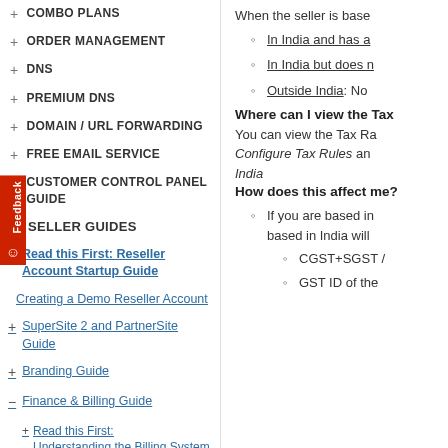+ COMBO PLANS
+ ORDER MANAGEMENT
+ DNS
+ PREMIUM DNS
+ DOMAIN / URL FORWARDING
+ FREE EMAIL SERVICE
+ CUSTOMER CONTROL PANEL GUIDE
SELLER GUIDES
Read this First: Reseller Account Startup Guide
Creating a Demo Reseller Account
+ SuperSite 2 and PartnerSite Guide
+ Branding Guide
- Finance & Billing Guide
Read this First: + Understanding the Billing System
Manage Billing with your
When the seller is base
In India and has a
In India but does n
Outside India: No
Where can I view the Tax
You can view the Tax Ra Configure Tax Rules and India
How does this affect me?
If you are based in based in India will
CGST+SGST /
GST ID of the